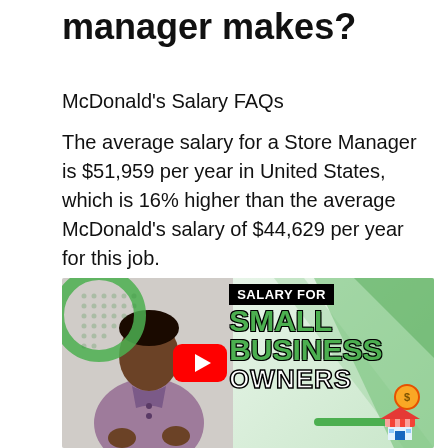manager makes?
McDonald's Salary FAQs
The average salary for a Store Manager is $51,959 per year in United States, which is 16% higher than the average McDonald's salary of $44,629 per year for this job.
[Figure (screenshot): YouTube video thumbnail showing a man in a purple polo shirt on the left side, with text on the right reading 'SALARY FOR' in a black badge, 'SMALL BUSINESS OWNERS' in large green and white bold letters, a YouTube play button in the center, green circle and dot pattern decorations, a store icon and dollar coin at the bottom right.]